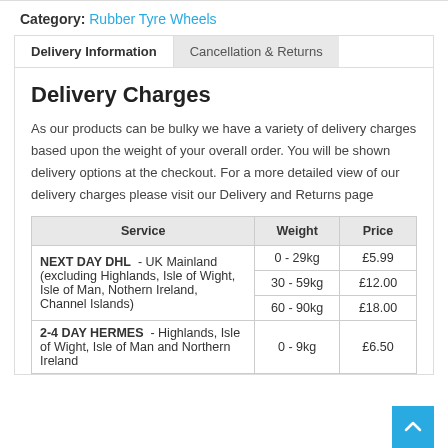Category: Rubber Tyre Wheels
Delivery Information | Cancellation & Returns
Delivery Charges
As our products can be bulky we have a variety of delivery charges based upon the weight of your overall order. You will be shown delivery options at the checkout. For a more detailed view of our delivery charges please visit our Delivery and Returns page
| Service | Weight | Price |
| --- | --- | --- |
| NEXT DAY DHL - UK Mainland (excluding Highlands, Isle of Wight, Isle of Man, Nothern Ireland, Channel Islands) | 0 - 29kg | £5.99 |
|  | 30 - 59kg | £12.00 |
|  | 60 - 90kg | £18.00 |
| 2-4 DAY HERMES - Highlands, Isle of Wight, Isle of Man and Northern Ireland | 0 - 9kg | £6.50 |